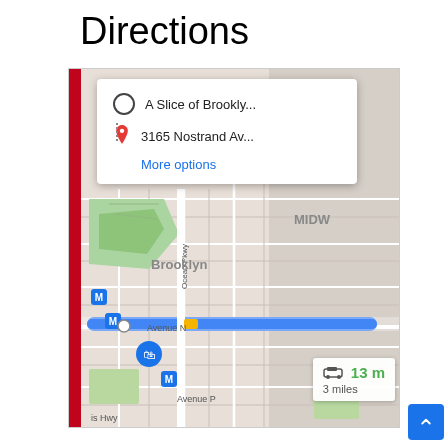Directions
[Figure (map): Google Maps screenshot showing directions from A Slice of Brookly... to 3165 Nostrand Av... in Brooklyn, NY. A blue route line runs along Avenue N. A distance box shows 13 min and 3 miles by car. Map labels include MIDW, Brooklyn, Island Ave, Ocean Pkwy, Avenue N, Avenue P, is Hwy. Metro station markers (M) are visible. A shopping bag location pin is shown. A route summary popup shows the origin and destination with a More options link.]